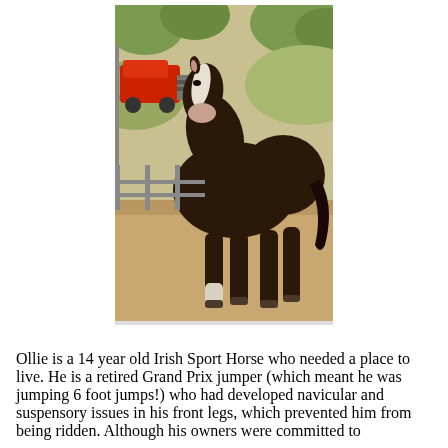[Figure (photo): A dark brown horse with a white blaze on its face standing in a sandy enclosure. A red vehicle and metal fencing are visible in the background with trees and hills.]
Ollie is a 14 year old Irish Sport Horse who needed a place to live. He is a retired Grand Prix jumper (which meant he was jumping 6 foot jumps!) who had developed navicular and suspensory issues in his front legs, which prevented him from being ridden. Although his owners were committed to